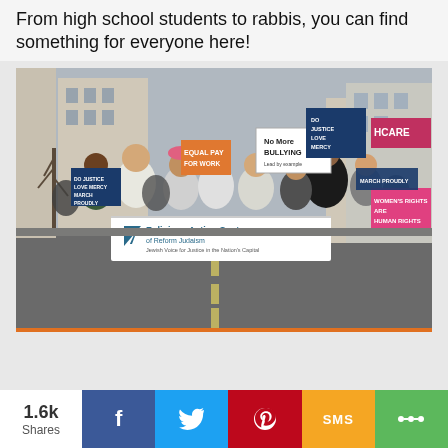From high school students to rabbis, you can find something for everyone here!
[Figure (photo): A group of people marching in the street holding signs and a banner for the Religious Action Center of Reform Judaism. Signs include 'No More Bullying', 'Women's Rights are Human Rights', 'HEALTHCARE', 'DO JUSTICE LOVE MERCY MARCH PROUDLY'.]
WHAT'S NEW
1.6k Shares
f (Facebook share button)
Twitter share button
Pinterest share button
SMS share button
More share button